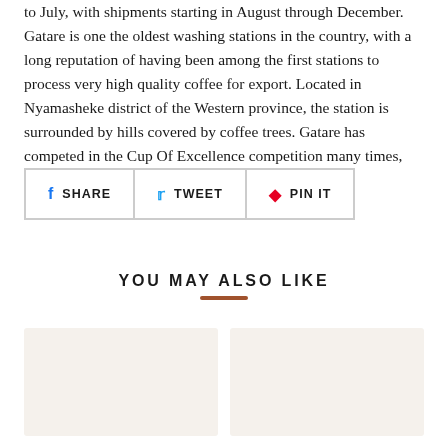to July, with shipments starting in August through December. Gatare is one the oldest washing stations in the country, with a long reputation of having been among the first stations to process very high quality coffee for export. Located in Nyamasheke district of the Western province, the station is surrounded by hills covered by coffee trees. Gatare has competed in the Cup Of Excellence competition many times, and always ended in the high winning lots.
[Figure (other): Social share buttons row: SHARE (Facebook), TWEET (Twitter), PIN IT (Pinterest)]
YOU MAY ALSO LIKE
[Figure (other): Two product card placeholders in a row (light beige background rectangles)]